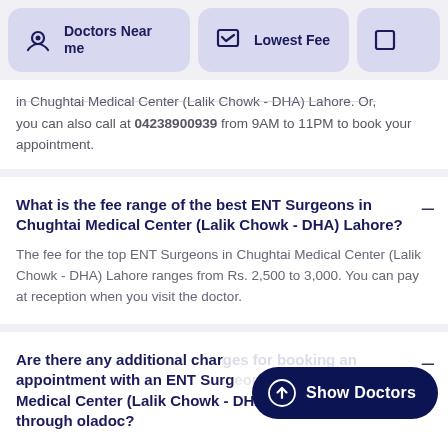Doctors Near me | Lowest Fee
in Chughtai Medical Center (Lalik Chowk - DHA) Lahore. Or, you can also call at 04238900939 from 9AM to 11PM to book your appointment.
What is the fee range of the best ENT Surgeons in Chughtai Medical Center (Lalik Chowk - DHA) Lahore?
The fee for the top ENT Surgeons in Chughtai Medical Center (Lalik Chowk - DHA) Lahore ranges from Rs. 2,500 to 3,000. You can pay at reception when you visit the doctor.
Are there any additional charges for booking an appointment with an ENT Surgeon in Chughtai Medical Center (Lalik Chowk - DHA) Lahore through oladoc?